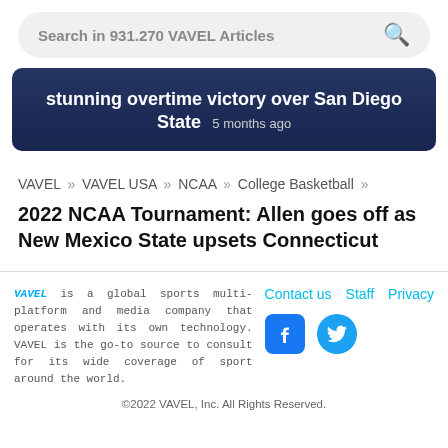Search in 931.270 VAVEL Articles
[Figure (photo): Sports event photo overlay with text: stunning overtime victory over San Diego State  5 months ago]
VAVEL » VAVEL USA » NCAA » College Basketball »
2022 NCAA Tournament: Allen goes off as New Mexico State upsets Connecticut
VAVEL is a global sports multi-platform and media company that operates with its own technology. VAVEL is the go-to source to consult for its wide coverage of sport around the world.
Contact us  Staff  Privacy
©2022 VAVEL, Inc. All Rights Reserved.